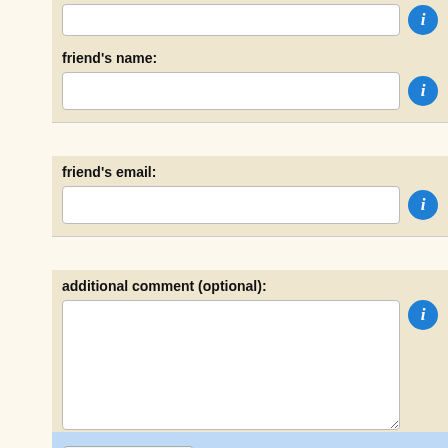friend's name:
friend's email:
additional comment (optional):
recommend
Branntorp google map link options